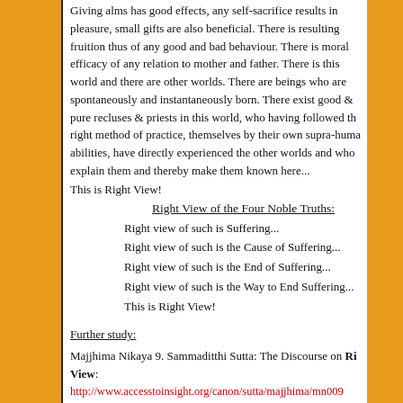Giving alms has good effects, any self-sacrifice results in pleasure, small gifts are also beneficial. There is resulting fruition thus of any good and bad behaviour. There is moral efficacy of any relation to mother and father. There is this world and there are other worlds. There are beings who are spontaneously and instantaneously born. There exist good & pure recluses & priests in this world, who having followed the right method of practice, themselves by their own supra-human abilities, have directly experienced the other worlds and who explain them and thereby make them known here...
This is Right View!
Right View of the Four Noble Truths:
Right view of such is Suffering...
Right view of such is the Cause of Suffering...
Right view of such is the End of Suffering...
Right view of such is the Way to End Suffering...
This is Right View!
Further study:
Majjhima Nikaya 9. Sammaditthi Sutta: The Discourse on Right View:
http://www.accesstoinsight.org/canon/sutta/majjhima/mn009...